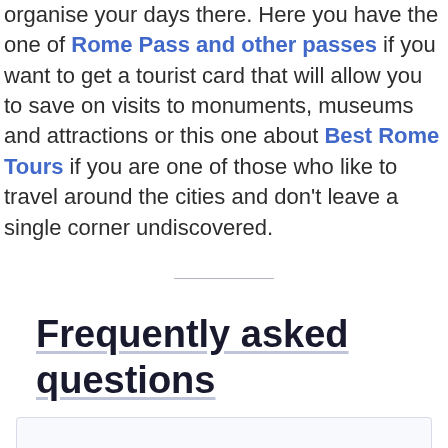organise your days there. Here you have the one of Rome Pass and other passes if you want to get a tourist card that will allow you to save on visits to monuments, museums and attractions or this one about Best Rome Tours if you are one of those who like to travel around the cities and don't leave a single corner undiscovered.
Frequently asked questions